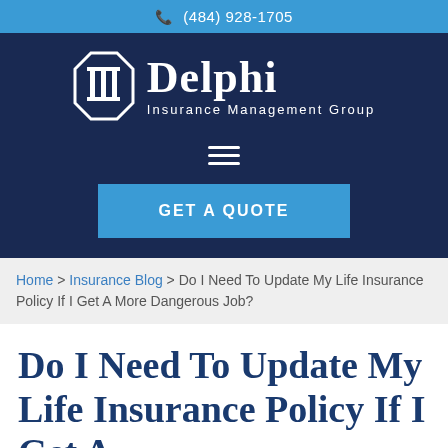(484) 928-1705
[Figure (logo): Delphi Insurance Management Group logo with column shield icon on dark navy background, with Get A Quote button]
Home > Insurance Blog > Do I Need To Update My Life Insurance Policy If I Get A More Dangerous Job?
Do I Need To Update My Life Insurance Policy If I Get A